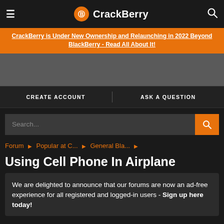CrackBerry
CrackBerry is Under New Ownership and Relaunching in 2022 Beyond BlackBerry - Read All About It!
CREATE ACCOUNT   ASK A QUESTION
Search...
Forum ▶ Popular at C... ▶ General Bla... ▶
Using Cell Phone In Airplane
We are delighted to announce that our forums are now an ad-free experience for all registered and logged-in users - Sign up here today!